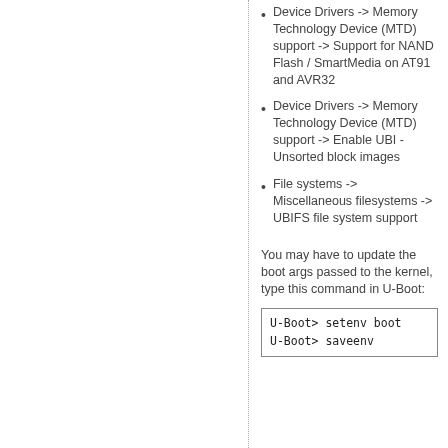Device Drivers -> Memory Technology Device (MTD) support -> Support for NAND Flash / SmartMedia on AT91 and AVR32
Device Drivers -> Memory Technology Device (MTD) support -> Enable UBI - Unsorted block images
File systems -> Miscellaneous filesystems -> UBIFS file system support
You may have to update the boot args passed to the kernel, type this command in U-Boot:
U-Boot> setenv boot
U-Boot> saveenv